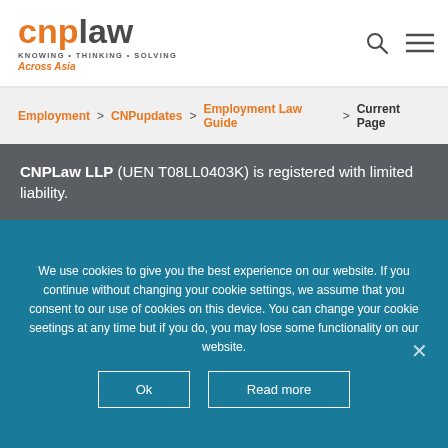[Figure (logo): CNPLaw logo with tagline KNOWING · THINKING · SOLVING Across Asia and header icons (search, menu)]
Employment > CNPupdates > Employment Law Guide > Current Page
CNPLaw LLP (UEN T08LL0403K) is registered with limited liability.
We use cookies to give you the best experience on our website. If you continue without changing your cookie settings, we assume that you consent to our use of cookies on this device. You can change your cookie seetings at any time but if you do, you may lose some functionality on our website.